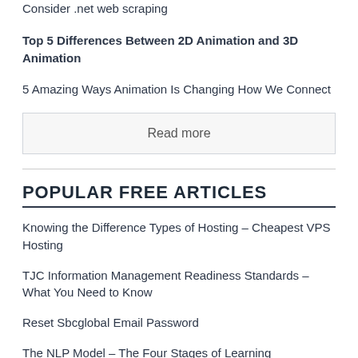Consider .net web scraping
Top 5 Differences Between 2D Animation and 3D Animation
5 Amazing Ways Animation Is Changing How We Connect
Read more
POPULAR FREE ARTICLES
Knowing the Difference Types of Hosting – Cheapest VPS Hosting
TJC Information Management Readiness Standards – What You Need to Know
Reset Sbcglobal Email Password
The NLP Model – The Four Stages of Learning
Robyn Epps Promoted to National Director of Sales and Development